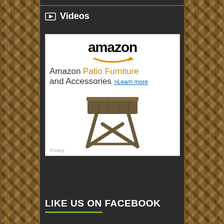Videos
[Figure (other): Amazon advertisement banner for Amazon Patio Furniture and Accessories featuring the Amazon logo with orange arrow, text 'Amazon Patio Furniture and Accessories > Learn more', and image of a folding wooden patio stool. Privacy label at bottom left.]
LIKE US ON FACEBOOK